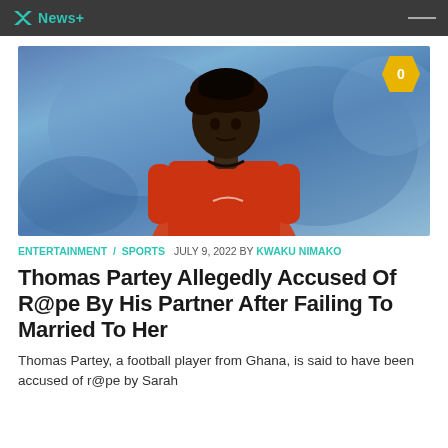X News+
[Figure (photo): Thomas Partey, a footballer wearing an orange/red jersey, photographed against a blurred blue stadium background. A gold badge with '0' appears in the top right corner of the image.]
ENTERTAINMENT / SPORTS  JULY 9, 2022 BY KWAKU NIMAKO
Thomas Partey Allegedly Accused Of R@pe By His Partner After Failing To Married To Her
Thomas Partey, a football player from Ghana, is said to have been accused of r@pe by Sarah